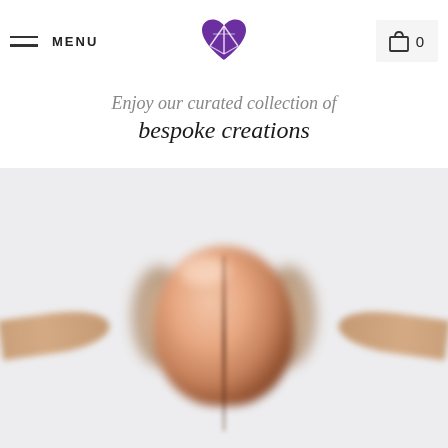MENU  [logo]  0
Enjoy our curated collection of bespoke creations
[Figure (photo): Blurred close-up photograph of a rose gold ring with a large central stone (likely morganite) surrounded by smaller stones in a halo setting, photographed on a white/light gray background.]